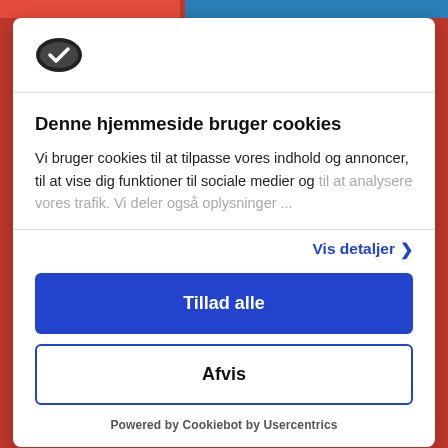[Figure (logo): Cookiebot logo - dark oval shape with checkmark]
Denne hjemmeside bruger cookies
Vi bruger cookies til at tilpasse vores indhold og annoncer, til at vise dig funktioner til sociale medier og til at analysere vores trafik. Vi deler også oplysninger ...
Vis detaljer >
Tillad alle
Afvis
Powered by Cookiebot by Usercentrics